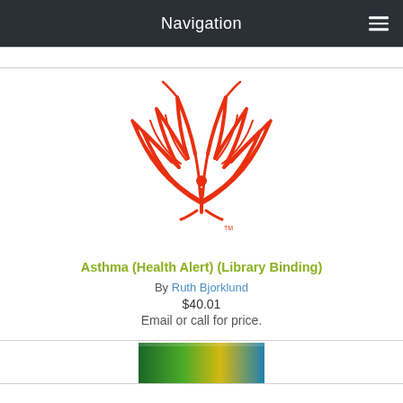Navigation
[Figure (logo): Red stylized logo with wing-like shapes and a central figure, resembling an abstract bird or person with outstretched wings, in red ink-sketch style]
Asthma (Health Alert) (Library Binding)
By Ruth Bjorklund
$40.01
Email or call for price.
[Figure (photo): Partial view of a book cover with green and yellow colors, cropped at bottom of page]